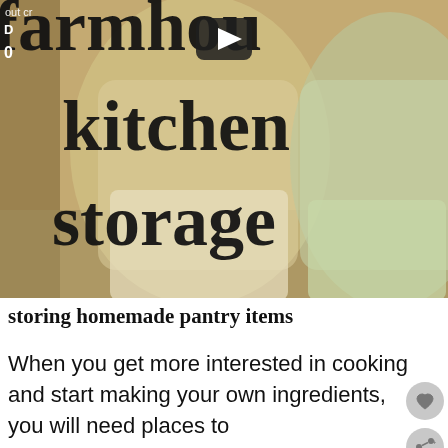[Figure (photo): A thumbnail image of glass mason jars filled with flour/grain and green-tinged powder, with large bold serif text overlay reading 'farmhou kitchen storage' and a video play button. Small UI elements visible at top left.]
storing homemade pantry items
When you get more interested in cooking and start making your own ingredients, you will need places to